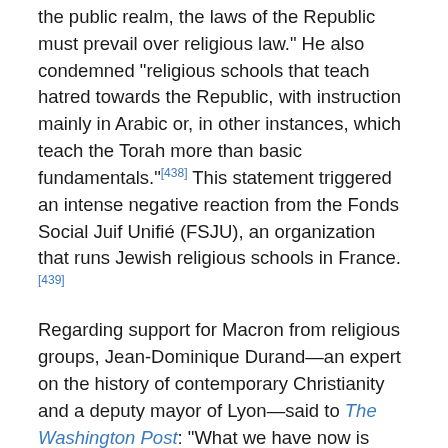the public realm, the laws of the Republic must prevail over religious law." He also condemned "religious schools that teach hatred towards the Republic, with instruction mainly in Arabic or, in other instances, which teach the Torah more than basic fundamentals."[438] This statement triggered an intense negative reaction from the Fonds Social Juif Unifié (FSJU), an organization that runs Jewish religious schools in France.[439]
Regarding support for Macron from religious groups, Jean-Dominique Durand—an expert on the history of contemporary Christianity and a deputy mayor of Lyon—said to The Washington Post: "What we have now is silence from the bishops. Protestants, Muslims, Jews have all mobilized for Macron. Not the Catholics, not in any clear way."
On 2 October 2020, he unveiled a plan to defend France's secular values against what he termed as "Islamist radicalism", saying the religion was "in crisis" all over the world, prompting a backlash from Muslim activists. He announced that the government would present a bill in